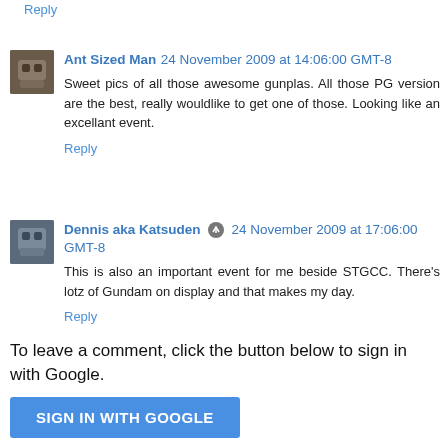Reply
Ant Sized Man  24 November 2009 at 14:06:00 GMT-8
Sweet pics of all those awesome gunplas. All those PG version are the best, really wouldlike to get one of those. Looking like an excellant event.
Reply
Dennis aka Katsuden  24 November 2009 at 17:06:00 GMT-8
This is also an important event for me beside STGCC. There's lotz of Gundam on display and that makes my day.
Reply
To leave a comment, click the button below to sign in with Google.
SIGN IN WITH GOOGLE